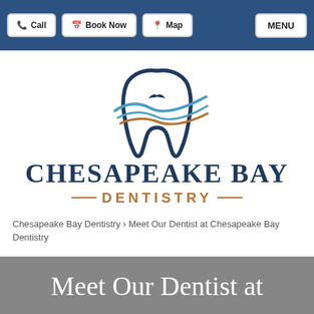Call | Book Now | Map | MENU
[Figure (logo): Chesapeake Bay Dentistry logo with stylized tooth outline, swooping wave lines in blue and brown, and a bird silhouette. Text reads CHESAPEAKE BAY DENTISTRY.]
Chesapeake Bay Dentistry > Meet Our Dentist at Chesapeake Bay Dentistry
Meet Our Dentist at